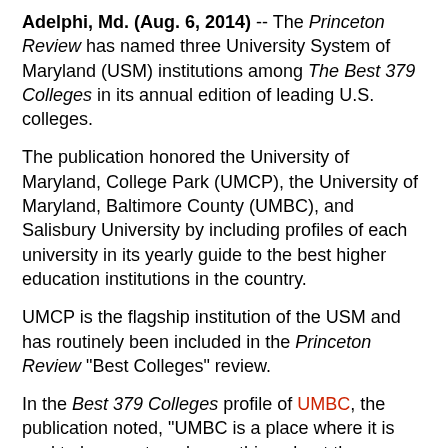Adelphi, Md. (Aug. 6, 2014) -- The Princeton Review has named three University System of Maryland (USM) institutions among The Best 379 Colleges in its annual edition of leading U.S. colleges.
The publication honored the University of Maryland, College Park (UMCP), the University of Maryland, Baltimore County (UMBC), and Salisbury University by including profiles of each university in its yearly guide to the best higher education institutions in the country.
UMCP is the flagship institution of the USM and has routinely been included in the Princeton Review "Best Colleges" review.
In the Best 379 Colleges profile of UMBC, the publication noted, "UMBC is a place where it is cool to be smart, and everything about the campus, including the students, exudes 'nerd-chic.' "
UMBC also has been included in the Princeton Review guidebook for many years. The guidebook has cited